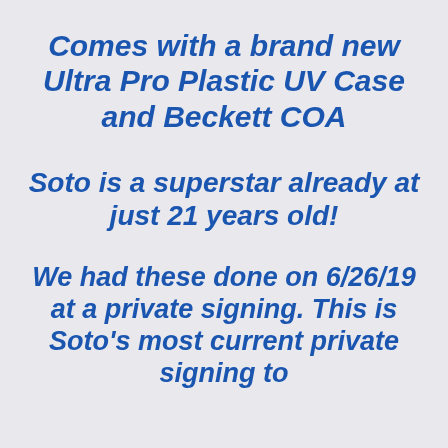Comes with a brand new Ultra Pro Plastic UV Case and Beckett COA
Soto is a superstar already at just 21 years old!
We had these done on 6/26/19 at a private signing. This is Soto's most current private signing to